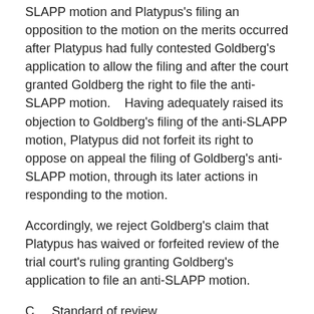SLAPP motion and Platypus's filing an opposition to the motion on the merits occurred after Platypus had fully contested Goldberg's application to allow the filing and after the court granted Goldberg the right to file the anti-SLAPP motion.    Having adequately raised its objection to Goldberg's filing of the anti-SLAPP motion, Platypus did not forfeit its right to oppose on appeal the filing of Goldberg's anti-SLAPP motion, through its later actions in responding to the motion.
Accordingly, we reject Goldberg's claim that Platypus has waived or forfeited review of the trial court's ruling granting Goldberg's application to file an anti-SLAPP motion.
C.    Standard of review
A trial court's ruling on an application to file a late anti-SLAPP motion is reviewed for an abuse of discretion.   (See Olson, supra, 134 Cal.App.4th at p. 286, 35 Cal.Rptr.3d 909.)